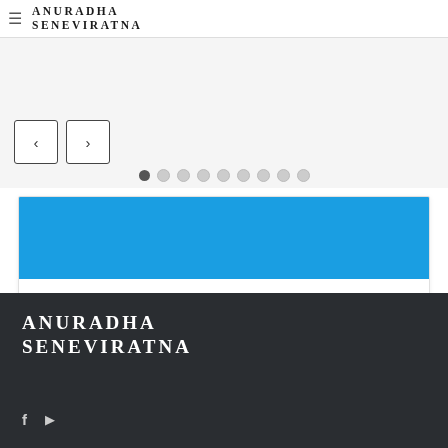ANURADHA SENEVIRATNA
[Figure (screenshot): Slideshow navigation arrows (left and right) with dot pagination indicators showing 9 dots, first dot filled/active]
[Figure (screenshot): Card with blue header bar and text 'Anuradha Seneviratna' below]
ANURADHA SENEVIRATNA